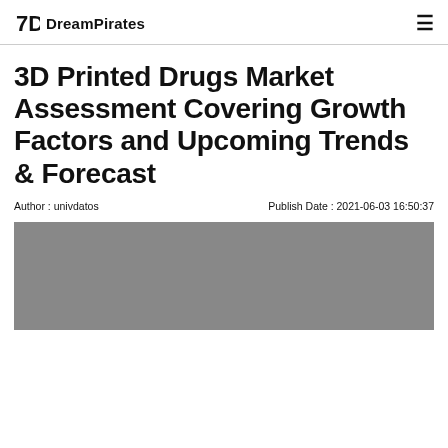DreamPirates
3D Printed Drugs Market Assessment Covering Growth Factors and Upcoming Trends & Forecast
Author : univdatos    Publish Date : 2021-06-03 16:50:37
[Figure (photo): Gray placeholder image for article hero/banner]